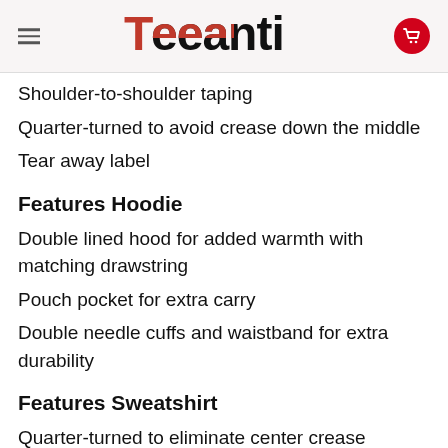Teeanti
Shoulder-to-shoulder taping
Quarter-turned to avoid crease down the middle
Tear away label
Features Hoodie
Double lined hood for added warmth with matching drawstring
Pouch pocket for extra carry
Double needle cuffs and waistband for extra durability
Features Sweatshirt
Quarter-turned to eliminate center crease